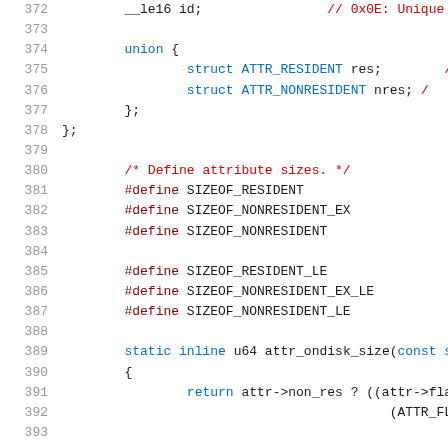[Figure (screenshot): Source code listing showing C code with line numbers 372-392, including struct member __le16 id, union with ATTR_RESIDENT and ATTR_NONRESIDENT members, #define macros for sizeof attribute sizes, and static inline function attr_ondisk_size]